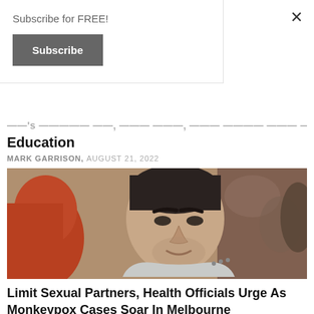Subscribe for FREE!
Subscribe
×
Education
MARK GARRISON, AUGUST 21, 2022
[Figure (photo): Man in gray t-shirt looking sideways, with a woman with red hair in the foreground out of focus]
Limit Sexual Partners, Health Officials Urge As Monkeypox Cases Soar In Melbourne
SHIBU THOMAS, AUGUST 20, 2022